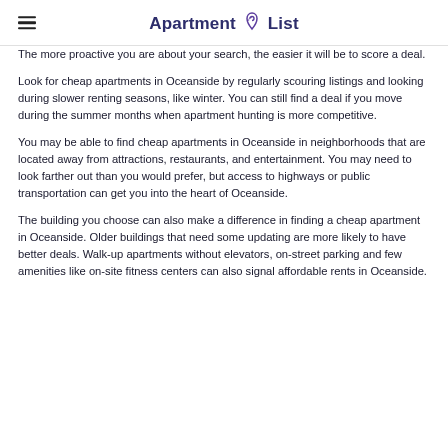Apartment List
The more proactive you are about your search, the easier it will be to score a deal.
Look for cheap apartments in Oceanside by regularly scouring listings and looking during slower renting seasons, like winter. You can still find a deal if you move during the summer months when apartment hunting is more competitive.
You may be able to find cheap apartments in Oceanside in neighborhoods that are located away from attractions, restaurants, and entertainment. You may need to look farther out than you would prefer, but access to highways or public transportation can get you into the heart of Oceanside.
The building you choose can also make a difference in finding a cheap apartment in Oceanside. Older buildings that need some updating are more likely to have better deals. Walk-up apartments without elevators, on-street parking and few amenities like on-site fitness centers can also signal affordable rents in Oceanside.